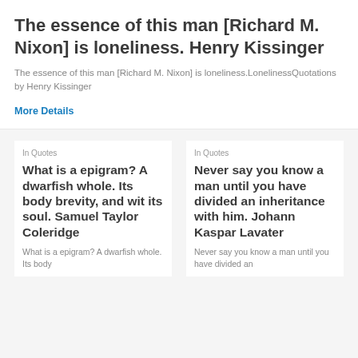The essence of this man [Richard M. Nixon] is loneliness. Henry Kissinger
The essence of this man [Richard M. Nixon] is loneliness.LonelinessQuotations by Henry Kissinger
More Details
In Quotes
What is a epigram? A dwarfish whole. Its body brevity, and wit its soul. Samuel Taylor Coleridge
What is a epigram? A dwarfish whole. Its body
In Quotes
Never say you know a man until you have divided an inheritance with him. Johann Kaspar Lavater
Never say you know a man until you have divided an